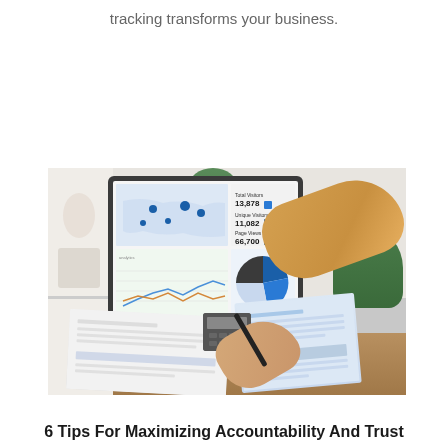tracking transforms your business.
[Figure (photo): Person pointing at a laptop screen displaying business analytics dashboards (world map with data points, line charts, pie chart, and statistics), while another person writes on documents with a pen, with a calculator on the desk]
6 Tips For Maximizing Accountability And Trust